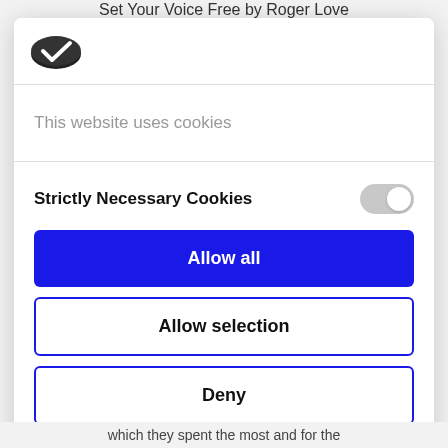Set Your Voice Free by Roger Love
[Figure (logo): Cookiebot logo — dark oval shape with a white checkmark]
This website uses cookies
Strictly Necessary Cookies
Allow all
Allow selection
Deny
Powered by Cookiebot by Usercentrics
which they spent the most and for the